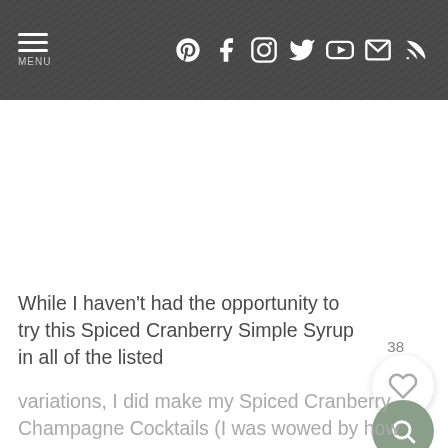MENU [social icons: Pinterest, Facebook, Instagram, Twitter, YouTube, Email, RSS]
[Figure (other): White blank image area below navigation bar]
38
[Figure (other): Heart icon button (white circle with heart outline)]
[Figure (other): Search icon button (green/sage circle with magnifying glass)]
While I haven't had the opportunity to try this Spiced Cranberry Simple Syrup in all of the listed variations, I did make my Spiced Cranberry Champagne Cocktails (I was wowed by how